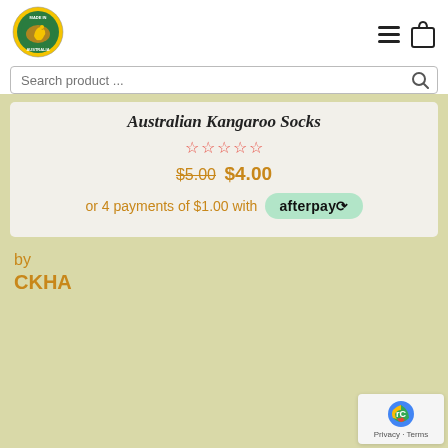[Figure (logo): Made in Australia circular logo with kangaroo]
[Figure (other): Hamburger menu and shopping bag icons]
Search product ...
Australian Kangaroo Socks
☆☆☆☆☆ (star rating, 0 out of 5)
$5.00 $4.00
or 4 payments of $1.00 with afterpay
by
CKHA
[Figure (other): reCAPTCHA widget - Privacy Terms]